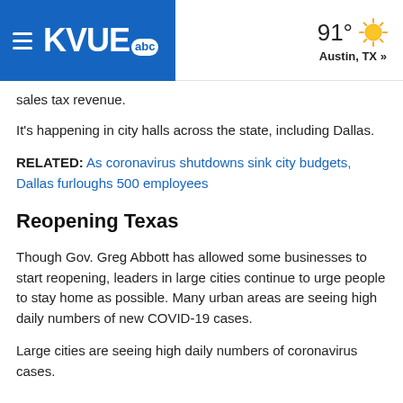KVUE abc  91° Austin, TX »
sales tax revenue.
It's happening in city halls across the state, including Dallas.
RELATED: As coronavirus shutdowns sink city budgets, Dallas furloughs 500 employees
Reopening Texas
Though Gov. Greg Abbott has allowed some businesses to start reopening, leaders in large cities continue to urge people to stay home as possible. Many urban areas are seeing high daily numbers of new COVID-19 cases.
Large cities are seeing high daily numbers of coronavirus cases.